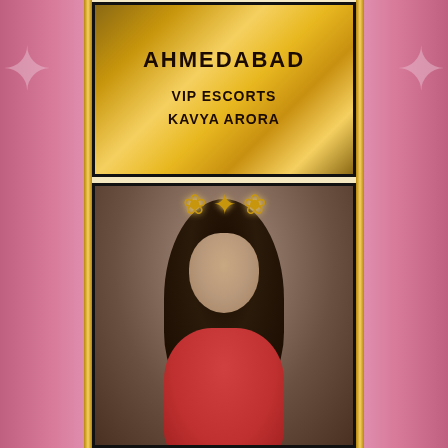AHMEDABAD
VIP ESCORTS
KAVYA ARORA
[Figure (photo): Portrait photo of a young woman with long dark hair, smiling, wearing a red outfit, with a decorative gold crown/floral ornament visible at the top of the image.]